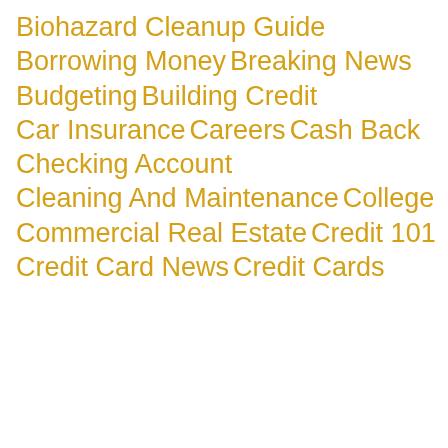Biohazard Cleanup Guide
Borrowing Money
Breaking News
Budgeting
Building Credit
Car Insurance
Careers
Cash Back
Checking Account
Cleaning And Maintenance
College
Commercial Real Estate
Credit 101
Credit Card News
Credit Cards